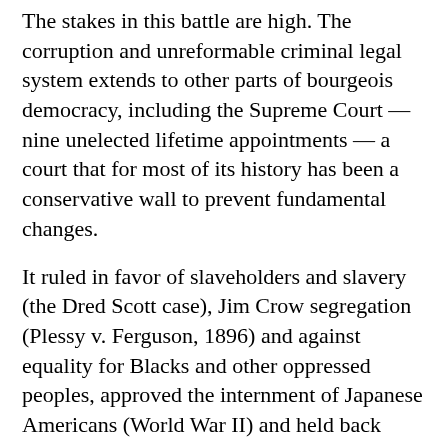The stakes in this battle are high. The corruption and unreformable criminal legal system extends to other parts of bourgeois democracy, including the Supreme Court — nine unelected lifetime appointments — a court that for most of its history has been a conservative wall to prevent fundamental changes.
It ruled in favor of slaveholders and slavery (the Dred Scott case), Jim Crow segregation (Plessy v. Ferguson, 1896) and against equality for Blacks and other oppressed peoples, approved the internment of Japanese Americans (World War II) and held back women's equality and gay rights. Only in recent decades, sometimes, the courts have registered gains won in the streets.
Keeanga-Yahamtta Taylor, assistant professor of African American Studies at Princeton University, writing in the September 26 The New Yorker in her article, “The Case for Ending the Supreme Court as We Know It,” explained: